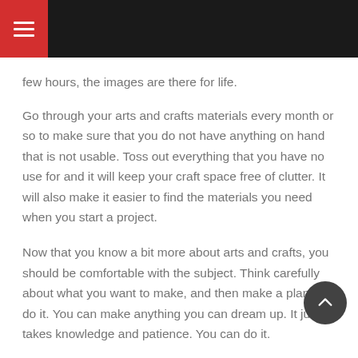≡ (hamburger menu)
few hours, the images are there for life.
Go through your arts and crafts materials every month or so to make sure that you do not have anything on hand that is not usable. Toss out everything that you have no use for and it will keep your craft space free of clutter. It will also make it easier to find the materials you need when you start a project.
Now that you know a bit more about arts and crafts, you should be comfortable with the subject. Think carefully about what you want to make, and then make a plan to do it. You can make anything you can dream up. It just takes knowledge and patience. You can do it.
Uncategorized